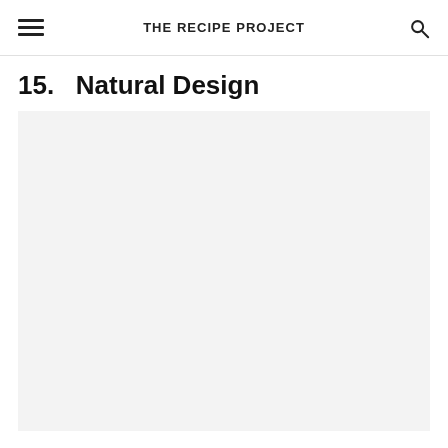THE RECIPE PROJECT
15.   Natural Design
[Figure (photo): Large light gray placeholder image area below the section title]